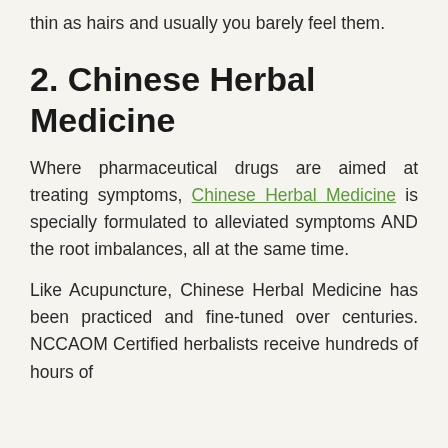thin as hairs and usually you barely feel them.
2. Chinese Herbal Medicine
Where pharmaceutical drugs are aimed at treating symptoms, Chinese Herbal Medicine is specially formulated to alleviated symptoms AND the root imbalances, all at the same time.
Like Acupuncture, Chinese Herbal Medicine has been practiced and fine-tuned over centuries. NCCAOM Certified herbalists receive hundreds of hours of